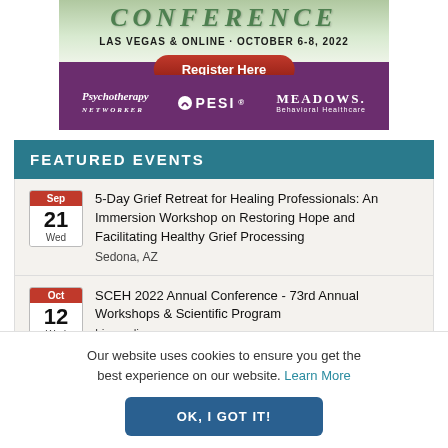[Figure (screenshot): Conference banner for Las Vegas & Online, October 6-8, 2022 with Register Here button and sponsor logos: Psychotherapy Networker, PESI, Meadows Behavioral Healthcare]
FEATURED EVENTS
Sep 21 Wed — 5-Day Grief Retreat for Healing Professionals: An Immersion Workshop on Restoring Hope and Facilitating Healthy Grief Processing — Sedona, AZ
Oct 12 Wed — SCEH 2022 Annual Conference - 73rd Annual Workshops & Scientific Program — Live online
Our website uses cookies to ensure you get the best experience on our website. Learn More
OK, I GOT IT!